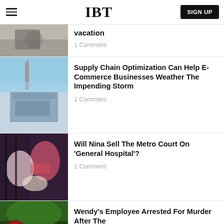IBT | SIGN UP
vacation
1 Comment
Supply Chain Optimization Can Help E-Commerce Businesses Weather The Impending Storm
1 Comment
Will Nina Sell The Metro Court On 'General Hospital'?
1 Comment
Wendy's Employee Arrested For Murder After The